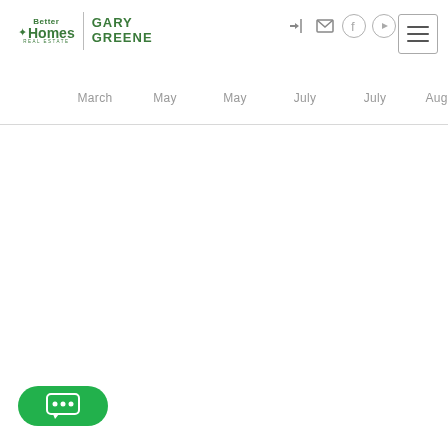[Figure (logo): Better Homes and Gardens Real Estate Gary Greene logo with green text and leaf icon, vertical divider separating brand name from Gary Greene]
[Figure (infographic): Top-right navigation icons: login arrow, email envelope, Facebook circle, YouTube circle, and hamburger menu button with three lines]
March   May   May   July   July   August
[Figure (infographic): Green rounded chat button with three dots speech bubble icon at bottom left]